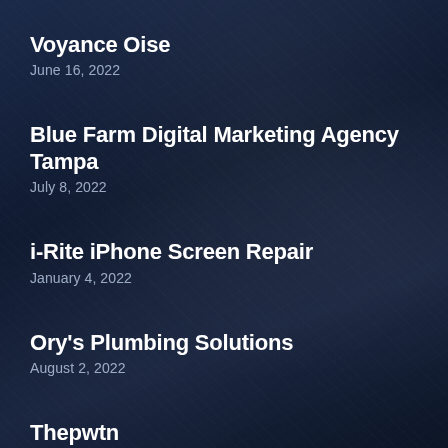Voyance Oise
June 16, 2022
Blue Farm Digital Marketing Agency Tampa
July 8, 2022
i-Rite iPhone Screen Repair
January 4, 2022
Ory's Plumbing Solutions
August 2, 2022
Thepwtn
February 8, 2022